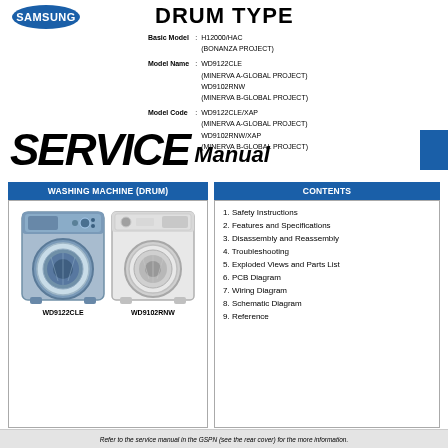[Figure (logo): Samsung logo (partially visible, blue arc/shape)]
DRUM TYPE
Basic Model : H12000/HAC (BONANZA PROJECT)
Model Name : WD9122CLE (MINERVA A-GLOBAL PROJECT) WD9102RNW (MINERVA B-GLOBAL PROJECT)
Model Code : WD9122CLE/XAP (MINERVA A-GLOBAL PROJECT) WD9102RNW/XAP (MINERVA B-GLOBAL PROJECT)
SERVICE Manual
WASHING MACHINE (DRUM)
[Figure (photo): Two front-loading washing machines side by side: WD9122CLE (blue/silver) on left and WD9102RNW (white) on right]
WD9122CLE    WD9102RNW
CONTENTS
1. Safety Instructions
2. Features and Specifications
3. Disassembly and Reassembly
4. Troubleshooting
5. Exploded Views and Parts List
6. PCB Diagram
7. Wiring Diagram
8. Schematic Diagram
9. Reference
Refer to the service manual in the GSPN (see the rear cover) for the more information.